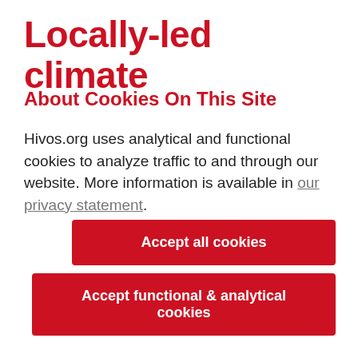Locally-led climate
About Cookies On This Site
Hivos.org uses analytical and functional cookies to analyze traffic to and through our website. More information is available in our privacy statement.
Accept all cookies
Accept functional & analytical cookies